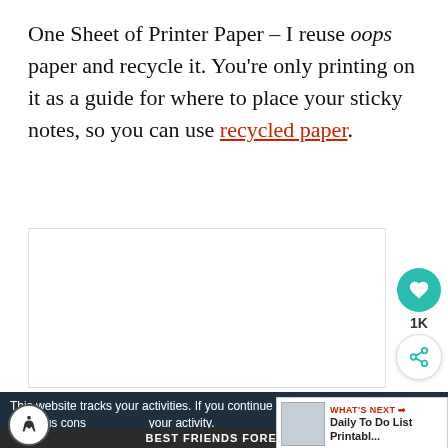One Sheet of Printer Paper – I reuse oops paper and recycle it. You're only printing on it as a guide for where to place your sticky notes, so you can use recycled paper.
[Figure (other): White advertisement placeholder box]
This website tracks your activities. If you continue browsing the site, you're giving us consent to track your activity.
[Figure (infographic): What's Next panel showing Daily To Do List Printable recommendation with thumbnail image]
[Figure (infographic): Best Friends Forever pet adoption advertisement banner with cats]